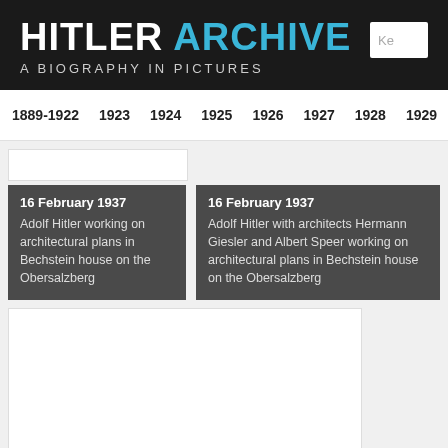HITLER ARCHIVE A BIOGRAPHY IN PICTURES
1889-1922 | 1923 | 1924 | 1925 | 1926 | 1927 | 1928 | 1929
16 February 1937
Adolf Hitler working on architectural plans in Bechstein house on the Obersalzberg
16 February 1937
Adolf Hitler with architects Hermann Giesler and Albert Speer working on architectural plans in Bechstein house on the Obersalzberg